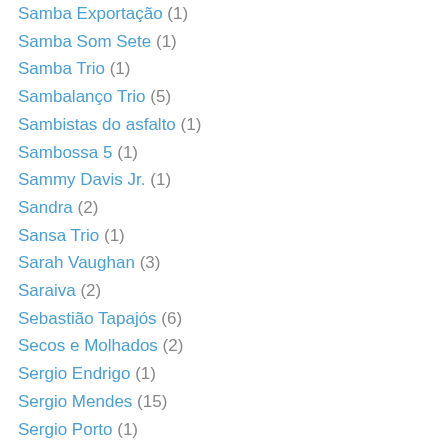Samba Exportação (1)
Samba Som Sete (1)
Samba Trio (1)
Sambalanço Trio (5)
Sambistas do asfalto (1)
Sambossa 5 (1)
Sammy Davis Jr. (1)
Sandra (2)
Sansa Trio (1)
Sarah Vaughan (3)
Saraiva (2)
Sebastião Tapajós (6)
Secos e Molhados (2)
Sergio Endrigo (1)
Sergio Mendes (15)
Sergio Porto (1)
Sergio Ricardo (10)
Sergio Sampaio (1)
Severino Araújo (5)
Severino Filho (4)